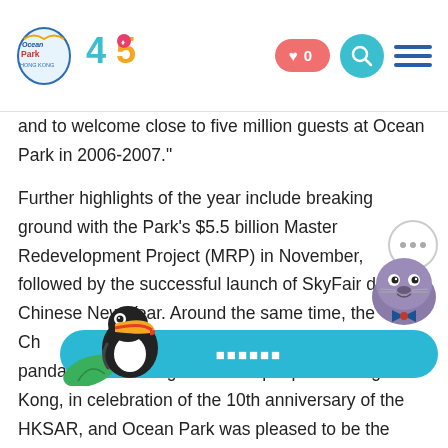Ocean Park 45th Anniversary navigation bar with logo, heart/0 button, search, and menu
and to welcome close to five million guests at Ocean Park in 2006-2007."
Further highlights of the year include breaking ground with the Park's $5.5 billion Master Redevelopment Project (MRP) in November, followed by the successful launch of SkyFair during Chinese New Year. Around the same time, the Chinese government announced that two young pandas were to be given to the people of Hong Kong, in celebration of the 10th anniversary of the HKSAR, and Ocean Park was pleased to be the appointed caregiver to a second pair of national treasures.
[Figure (illustration): Animated seal/walrus mascot with a speech bubble containing three dots, chat-style illustration]
[Figure (illustration): Toucan bird illustration with colorful beak and tropical leaf]
"Welcoming [obscured text] was an unforgettable moment for the city, and a precious milestone for